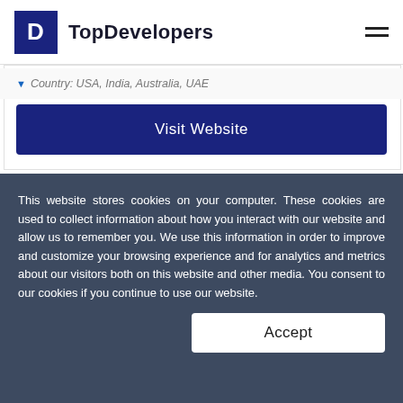TopDevelopers
Country: USA, India, Australia, UAE
Visit Website
This website stores cookies on your computer. These cookies are used to collect information about how you interact with our website and allow us to remember you. We use this information in order to improve and customize your browsing experience and for analytics and metrics about our visitors both on this website and other media. You consent to our cookies if you continue to use our website.
Accept
attracting and customized IT solutions in the